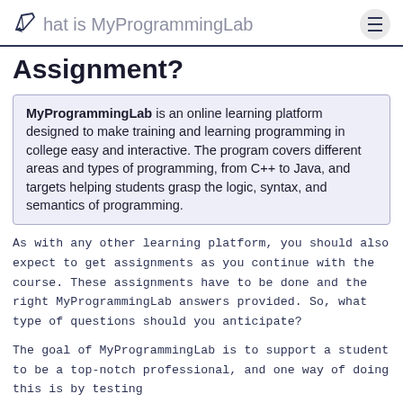What is MyProgrammingLab Assignment?
Assignment?
MyProgrammingLab is an online learning platform designed to make training and learning programming in college easy and interactive. The program covers different areas and types of programming, from C++ to Java, and targets helping students grasp the logic, syntax, and semantics of programming.
As with any other learning platform, you should also expect to get assignments as you continue with the course. These assignments have to be done and the right MyProgrammingLab answers provided. So, what type of questions should you anticipate?
The goal of MyProgrammingLab is to support a student to be a top-notch professional, and one way of doing this is by testing